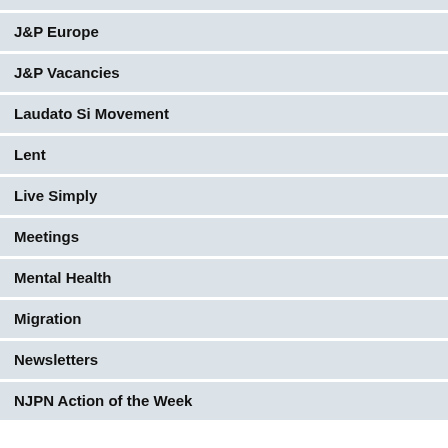J&P Europe
J&P Vacancies
Laudato Si Movement
Lent
Live Simply
Meetings
Mental Health
Migration
Newsletters
NJPN Action of the Week